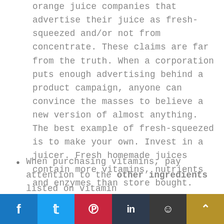orange juice companies that advertise their juice as fresh-squeezed and/or not from concentrate. These claims are far from the truth. When a corporation puts enough advertising behind a product campaign, anyone can convince the masses to believe a new version of almost anything. The best example of fresh-squeezed is to make your own. Invest in a juicer. Fresh homemade juices contain more vitamins, nutrients and enzymes than store bought.
When purchasing vitamins, pay attention to the other ingredients listed on vitamin